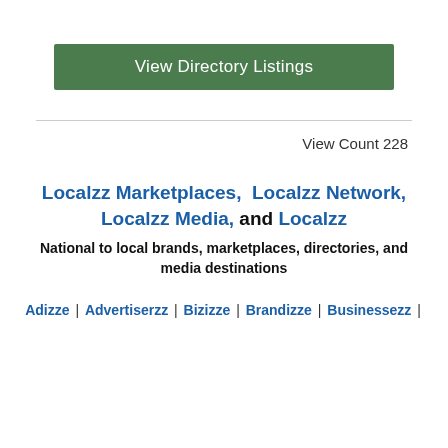[Figure (screenshot): Green button labeled 'View Directory Listings']
View Count 228
Localzz Marketplaces, Localzz Network, Localzz Media, and Localzz
National to local brands, marketplaces, directories, and media destinations
Adizze | Advertiserzz | Bizizze | Brandizze | Businessezz |